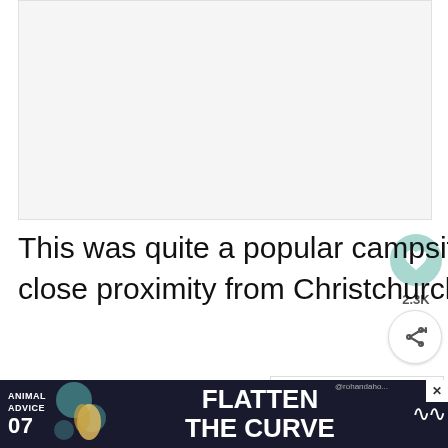[Figure (photo): Image placeholder area, light gray background]
This was quite a popular campsite, likely due to the close proximity from Christchurch.
Be careful parking your campervan here
[Figure (infographic): Ad banner: ANIMAL ADVICE 07 FLATTEN THE CURVE with decorative graphics and close button]